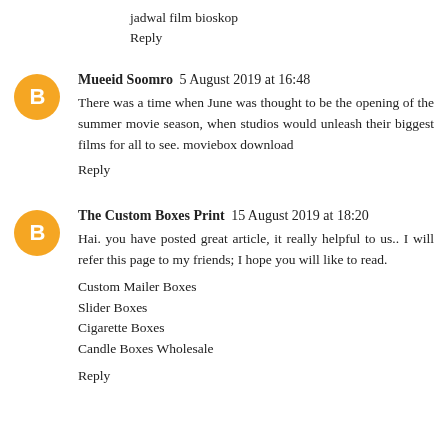jadwal film bioskop
Reply
Mueeid Soomro  5 August 2019 at 16:48
There was a time when June was thought to be the opening of the summer movie season, when studios would unleash their biggest films for all to see. moviebox download
Reply
The Custom Boxes Print  15 August 2019 at 18:20
Hai. you have posted great article, it really helpful to us.. I will refer this page to my friends; I hope you will like to read.
Custom Mailer Boxes
Slider Boxes
Cigarette Boxes
Candle Boxes Wholesale
Reply